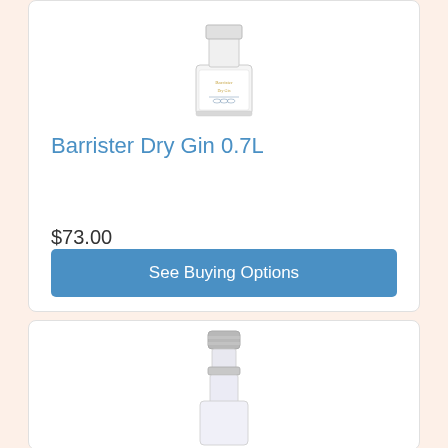[Figure (photo): Top portion of a Barrister Dry Gin 0.7L bottle with white label and blue botanical design]
Barrister Dry Gin 0.7L
$73.00
See Buying Options
[Figure (photo): Top portion of a second gin/spirits bottle with silver cap, partially visible at bottom of page]